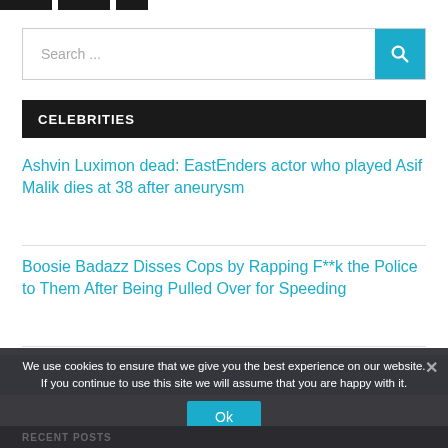[Figure (screenshot): Navigation tabs (black rectangles) at the top of the page]
Search ...
CELEBRITIES
Ashvin Luximon dead: EastEnders actor who played Asif Malik dies at 38 after aneurysm
Boosie Badazz Disses Cops by Rapping F**k the Police to Them After Being Pulled Over for Speeding
We use cookies to ensure that we give you the best experience on our website. If you continue to use this site we will assume that you are happy with it.
Ok
RECENT POSTS